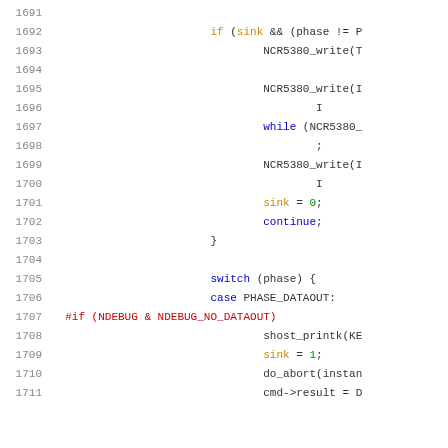[Figure (screenshot): Source code listing showing C code lines 1691-1711 with syntax highlighting. Line numbers in gray on left. Keywords like while, switch, case, continue in blue. Identifiers like sink in orange/yellow. Numeric values in green. Preprocessor directives in red.]